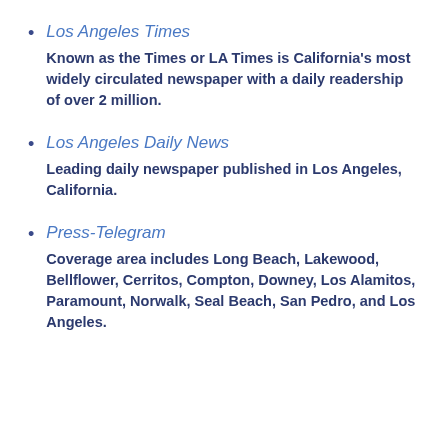Los Angeles Times
Known as the Times or LA Times is California's most widely circulated newspaper with a daily readership of over 2 million.
Los Angeles Daily News
Leading daily newspaper published in Los Angeles, California.
Press-Telegram
Coverage area includes Long Beach, Lakewood, Bellflower, Cerritos, Compton, Downey, Los Alamitos, Paramount, Norwalk, Seal Beach, San Pedro, and Los Angeles.